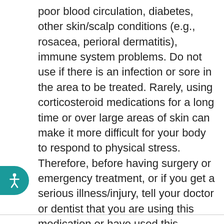poor blood circulation, diabetes, other skin/scalp conditions (e.g., rosacea, perioral dermatitis), immune system problems. Do not use if there is an infection or sore in the area to be treated. Rarely, using corticosteroid medications for a long time or over large areas of skin can make it more difficult for your body to respond to physical stress. Therefore, before having surgery or emergency treatment, or if you get a serious illness/injury, tell your doctor or dentist that you are using this medication or have used this medication within the past few months. Though it is unlikely, this medication may slow down a child's growth if used for a long time. The effect on final adult height is unknown. See the doctor regularly so your child's height can be checked. This medication should be used only when clearly needed during pregnancy. Discuss the risks and benefits with your doctor. It is not known whether this drug passes into breast milk when applied to the scalp/skin. Similar medications pass into breast milk when taken by mouth. Consult your doctor before breast-feeding.